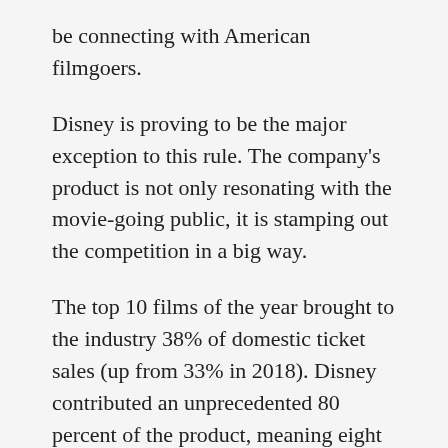be connecting with American filmgoers.
Disney is proving to be the major exception to this rule. The company's product is not only resonating with the movie-going public, it is stamping out the competition in a big way.
The top 10 films of the year brought to the industry 38% of domestic ticket sales (up from 33% in 2018). Disney contributed an unprecedented 80 percent of the product, meaning eight out of the top 10 biggest revenue generators in the domestic box office were brought to you courtesy of the Mouse House.
The month of the year saw that Walt Di…